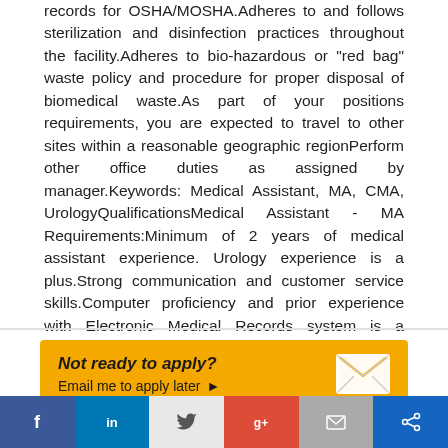records for OSHA/MOSHA.Adheres to and follows sterilization and disinfection practices throughout the facility.Adheres to bio-hazardous or "red bag" waste policy and procedure for proper disposal of biomedical waste.As part of your positions requirements, you are expected to travel to other sites within a reasonable geographic regionPerform other office duties as assigned by manager.Keywords: Medical Assistant, MA, CMA, UrologyQualificationsMedical Assistant - MA Requirements:Minimum of 2 years of medical assistant experience. Urology experience is a plus.Strong communication and customer service skills.Computer proficiency and prior experience with Electronic Medical Records system is a plus.Ability to work in a fast paced environment.Ability to travel to other sites as necessary.
Not ready to apply? Email me to apply later ▶
[Figure (infographic): Social media sharing footer bar with Facebook, LinkedIn, Twitter, Google+, Email, and another share icon buttons]